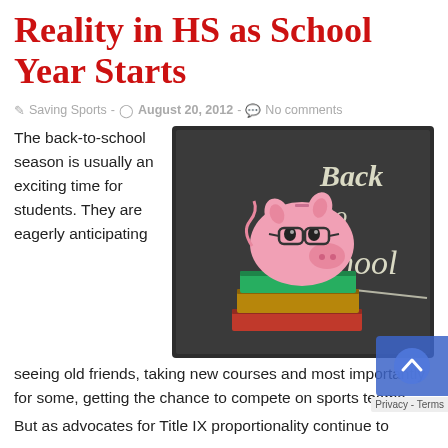Reality in HS as School Year Starts
Saving Sports · August 20, 2012 · No comments
The back-to-school season is usually an exciting time for students. They are eagerly anticipating seeing old friends, taking new courses and most importantly for some, getting the chance to compete on sports teams.
[Figure (photo): A pink piggy bank wearing glasses sitting on top of a stack of books, with a chalkboard behind it that reads 'Back to School']
But as advocates for Title IX proportionality continue to